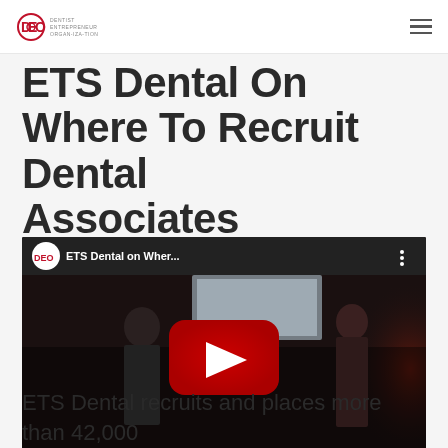DEO — Dentist Entrepreneur Organization
ETS Dental On Where To Recruit Dental Associates
[Figure (screenshot): YouTube video thumbnail showing a DEO-branded video titled 'ETS Dental on Wher...' with two people on a dark stage, one with a red spotlight, and the YouTube play button overlay.]
ETS Dental recruits and places more than 42,000